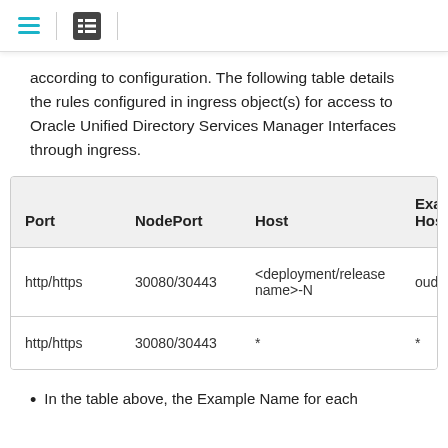[Navigation bar with menu and list icons]
according to configuration. The following table details the rules configured in ingress object(s) for access to Oracle Unified Directory Services Manager Interfaces through ingress.
| Port | NodePort | Host | Exam Host |
| --- | --- | --- | --- |
| http/https | 30080/30443 | <deployment/release name>-N | ouds |
| http/https | 30080/30443 | * | * |
In the table above, the Example Name for each